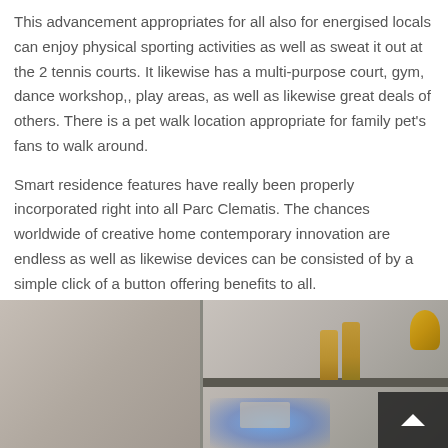This advancement appropriates for all also for energised locals can enjoy physical sporting activities as well as sweat it out at the 2 tennis courts. It likewise has a multi-purpose court, gym, dance workshop,, play areas, as well as likewise great deals of others. There is a pet walk location appropriate for family pet's fans to walk around.
Smart residence features have really been properly incorporated right into all Parc Clematis. The chances worldwide of creative home contemporary innovation are endless as well as likewise devices can be consisted of by a simple click of a button offering benefits to all.
[Figure (photo): Interior photo showing a kitchen or bar counter area with shelves, bottles, and items. A dark navigation arrow box is visible in the bottom-right corner.]